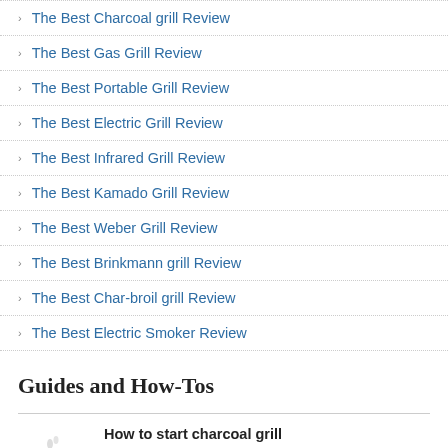The Best Charcoal grill Review
The Best Gas Grill Review
The Best Portable Grill Review
The Best Electric Grill Review
The Best Infrared Grill Review
The Best Kamado Grill Review
The Best Weber Grill Review
The Best Brinkmann grill Review
The Best Char-broil grill Review
The Best Electric Smoker Review
Guides and How-Tos
[Figure (photo): Image of a charcoal grill]
How to start charcoal grill
Whether you are camping out in the wilderness, hosting a party, or spending a lazy weekend with your family in your